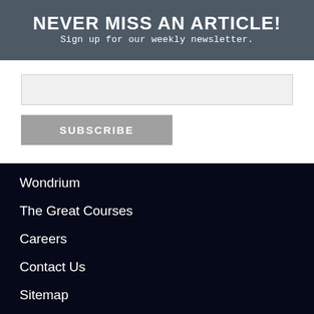NEVER MISS AN ARTICLE!
Sign up for our weekly newsletter.
[Figure (other): Email input text field for newsletter signup]
SUBSCRIBE
Wondrium
The Great Courses
Careers
Contact Us
Sitemap
Privacy Policy
Terms and Conditions